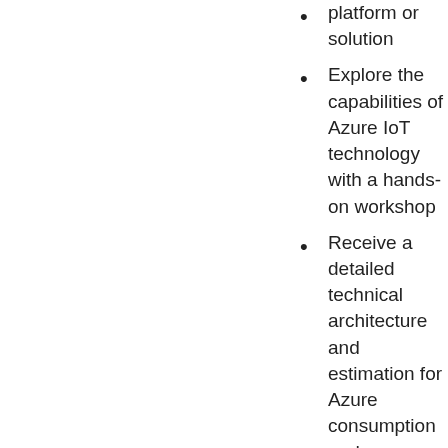platform or solution
Explore the capabilities of Azure IoT technology with a hands-on workshop
Receive a detailed technical architecture and estimation for Azure consumption and realization of the initial solution. This will also include a scope of work
Set up a first proof of concept connecting a real device to Azure